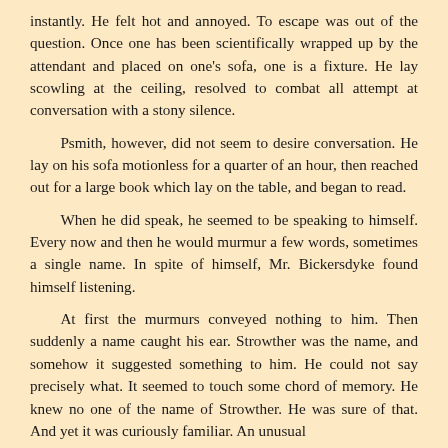instantly. He felt hot and annoyed. To escape was out of the question. Once one has been scientifically wrapped up by the attendant and placed on one's sofa, one is a fixture. He lay scowling at the ceiling, resolved to combat all attempt at conversation with a stony silence.
Psmith, however, did not seem to desire conversation. He lay on his sofa motionless for a quarter of an hour, then reached out for a large book which lay on the table, and began to read.
When he did speak, he seemed to be speaking to himself. Every now and then he would murmur a few words, sometimes a single name. In spite of himself, Mr. Bickersdyke found himself listening.
At first the murmurs conveyed nothing to him. Then suddenly a name caught his ear. Strowther was the name, and somehow it suggested something to him. He could not say precisely what. It seemed to touch some chord of memory. He knew no one of the name of Strowther. He was sure of that. And yet it was curiously familiar. An unusual